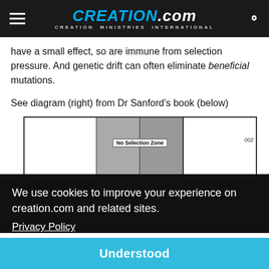CREATION.com — CREATION MINISTRIES INTERNATIONAL
have a small effect, so are immune from selection pressure. And genetic drift can often eliminate beneficial mutations.
See diagram (right) from Dr Sanford’s book (below)
[Figure (schematic): Partial diagram from Dr Sanford's book showing a table with white and grey columns, partially obscured by cookie consent overlay. A 'No Selection Zone' label appears at the bottom.]
We use cookies to improve your experience on creation.com and related sites.
Privacy Policy
Understood